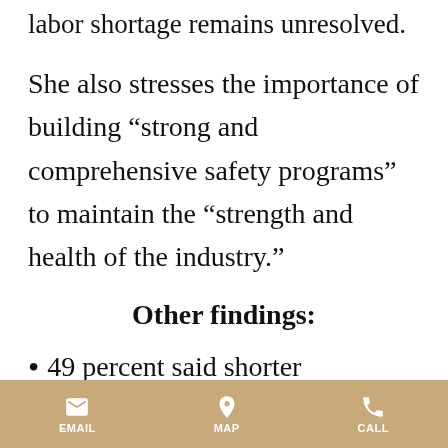labor shortage remains unresolved.
She also stresses the importance of building “strong and comprehensive safety programs” to maintain the “strength and health of the industry.”
Other findings:
49 percent said shorter construction schedules are affecting safety. 47 percent
EMAIL   MAP   CALL